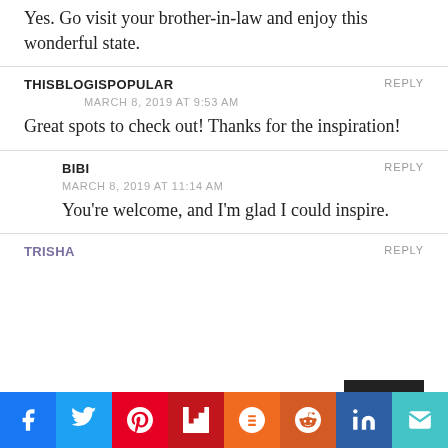Yes. Go visit your brother-in-law and enjoy this wonderful state.
THISBLOGISPOPULAR
REPLY
MARCH 8, 2019 AT 9:53 AM
Great spots to check out! Thanks for the inspiration!
BIBI
REPLY
MARCH 8, 2019 AT 11:14 AM
You're welcome, and I'm glad I could inspire.
TRISHA
REPLY